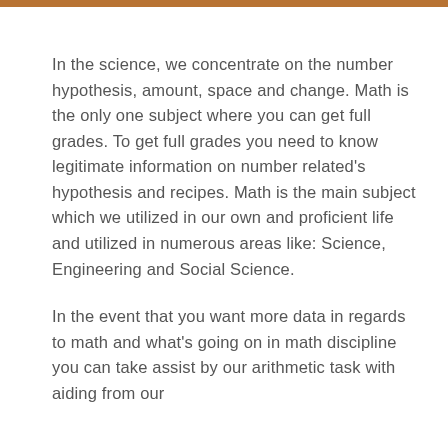In the science, we concentrate on the number hypothesis, amount, space and change. Math is the only one subject where you can get full grades. To get full grades you need to know legitimate information on number related's hypothesis and recipes. Math is the main subject which we utilized in our own and proficient life and utilized in numerous areas like: Science, Engineering and Social Science.
In the event that you want more data in regards to math and what's going on in math discipline you can take assist by our arithmetic task with aiding from our